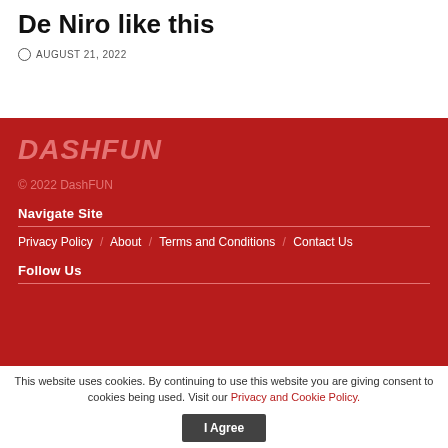De Niro like this
AUGUST 21, 2022
[Figure (logo): DashFUN logo in pink/light-red italic bold text on dark red background]
© 2022 DashFUN
Navigate Site
Privacy Policy / About / Terms and Conditions / Contact Us
Follow Us
This website uses cookies. By continuing to use this website you are giving consent to cookies being used. Visit our Privacy and Cookie Policy.
I Agree